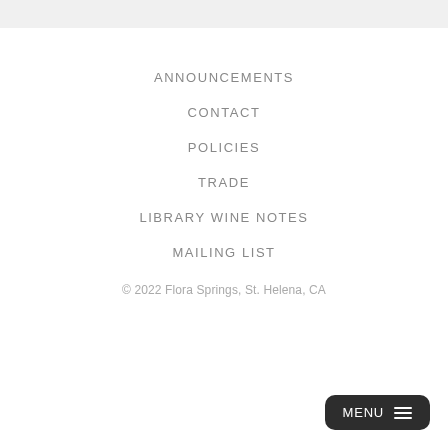ANNOUNCEMENTS
CONTACT
POLICIES
TRADE
LIBRARY WINE NOTES
MAILING LIST
© 2022 Flora Springs, St. Helena, CA
MENU